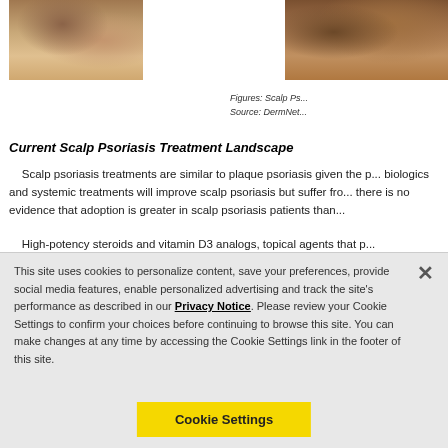[Figure (photo): Close-up photo of scalp psoriasis, left image]
[Figure (photo): Close-up photo of scalp psoriasis, right image]
Figures: Scalp Ps...
Source: DermNet...
Current Scalp Psoriasis Treatment Landscape
Scalp psoriasis treatments are similar to plaque psoriasis given the p... biologics and systemic treatments will improve scalp psoriasis but suffer fro... there is no evidence that adoption is greater in scalp psoriasis patients than...
High-potency steroids and vitamin D3 analogs, topical agents that p...
This site uses cookies to personalize content, save your preferences, provide social media features, enable personalized advertising and track the site's performance as described in our Privacy Notice. Please review your Cookie Settings to confirm your choices before continuing to browse this site. You can make changes at any time by accessing the Cookie Settings link in the footer of this site.
Cookie Settings